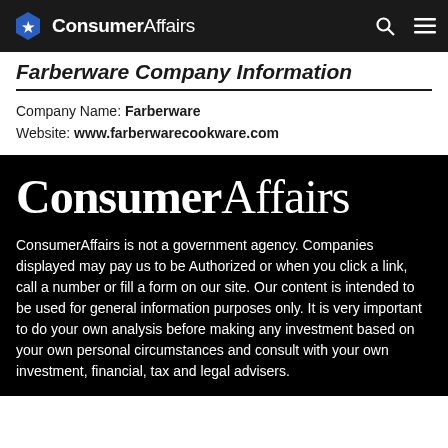ConsumerAffairs
Farberware Company Information
Company Name: Farberware
Website: www.farberwarecookware.com
[Figure (logo): ConsumerAffairs large white logo on black background]
ConsumerAffairs is not a government agency. Companies displayed may pay us to be Authorized or when you click a link, call a number or fill a form on our site. Our content is intended to be used for general information purposes only. It is very important to do your own analysis before making any investment based on your own personal circumstances and consult with your own investment, financial, tax and legal advisers.